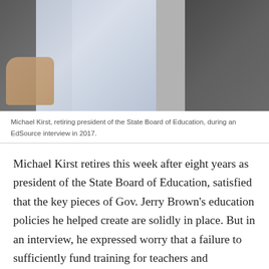[Figure (photo): Michael Kirst, retiring president of the State Board of Education, photographed during an EdSource interview in 2017. The image shows a person in a dark suit jacket with a light blue shirt, seated.]
Michael Kirst, retiring president of the State Board of Education, during an EdSource interview in 2017.
Michael Kirst retires this week after eight years as president of the State Board of Education, satisfied that the key pieces of Gov. Jerry Brown's education policies he helped create are solidly in place. But in an interview, he expressed worry that a failure to sufficiently fund training for teachers and principals in the new academic standards, school climate and other supports for students could undermine expectations for achievement and erode the public's faith in the new system.